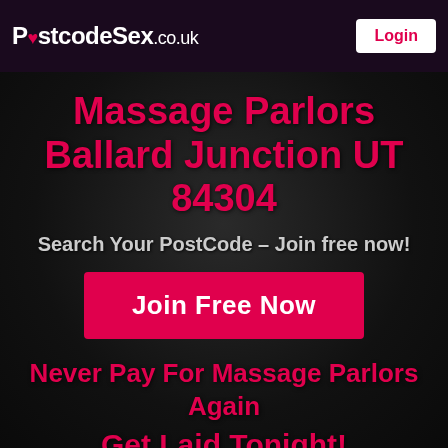PostcodeSex.co.uk | Login
Massage Parlors Ballard Junction UT 84304
Search Your PostCode – Join free now!
Join Free Now
Never Pay For Massage Parlors Again
Get Laid Tonight!
Search Your PostCode